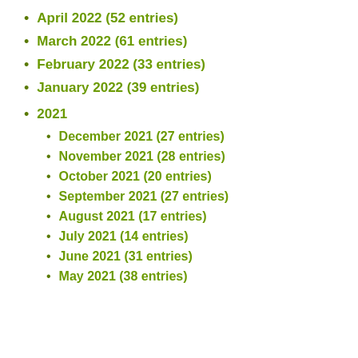April 2022 (52 entries)
March 2022 (61 entries)
February 2022 (33 entries)
January 2022 (39 entries)
2021
December 2021 (27 entries)
November 2021 (28 entries)
October 2021 (20 entries)
September 2021 (27 entries)
August 2021 (17 entries)
July 2021 (14 entries)
June 2021 (31 entries)
May 2021 (38 entries)